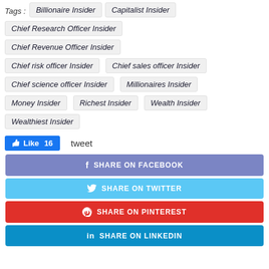Tags : Billionaire Insider  Capitalist Insider
Chief Research Officer Insider
Chief Revenue Officer Insider
Chief risk officer Insider  Chief sales officer Insider
Chief science officer Insider  Millionaires Insider
Money Insider  Richest Insider  Wealth Insider
Wealthiest Insider
Like 16   tweet
SHARE ON FACEBOOK
SHARE ON TWITTER
SHARE ON PINTEREST
SHARE ON LINKEDIN